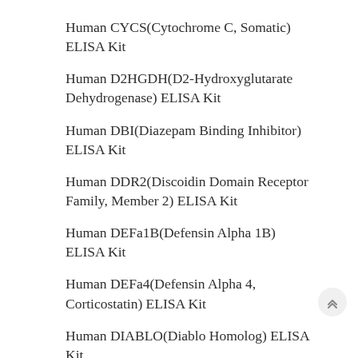Human CYCS(Cytochrome C, Somatic) ELISA Kit
Human D2HGDH(D2-Hydroxyglutarate Dehydrogenase) ELISA Kit
Human DBI(Diazepam Binding Inhibitor) ELISA Kit
Human DDR2(Discoidin Domain Receptor Family, Member 2) ELISA Kit
Human DEFa1B(Defensin Alpha 1B) ELISA Kit
Human DEFa4(Defensin Alpha 4, Corticostatin) ELISA Kit
Human DIABLO(Diablo Homolog) ELISA Kit
Human DIO2(Deiodinase, Iodothyronine, Type II) ELISA Kit
Human dLL1(Delta Like Protein 1) ELISA Kit
Human dLL3(Delta Like Protein 3) ELISA Kit